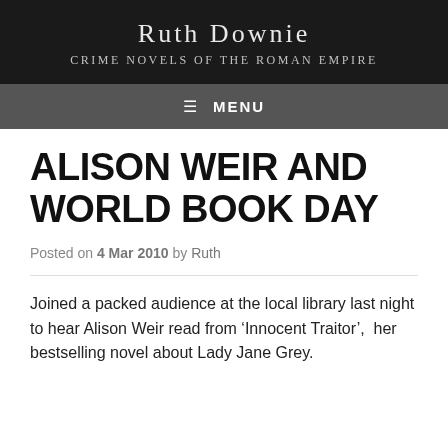Ruth Downie
Crime Novels of the Roman Empire
MENU
ALISON WEIR AND WORLD BOOK DAY
Posted on 4 Mar 2010 by Ruth
Joined a packed audience at the local library last night to hear Alison Weir read from ‘Innocent Traitor’,  her bestselling novel about Lady Jane Grey.